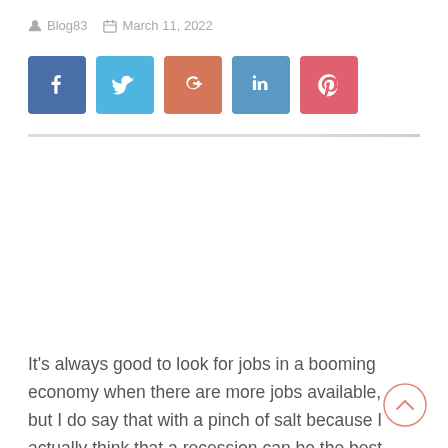Blog83   March 11, 2022
[Figure (infographic): Social sharing buttons row: Facebook (blue), Twitter (light blue), Google+ (salmon), LinkedIn (medium blue), Pinterest (pink-red)]
It's always good to look for jobs in a booming economy when there are more jobs available, but I do say that with a pinch of salt because I actually think that a recession can be the best time to think about your